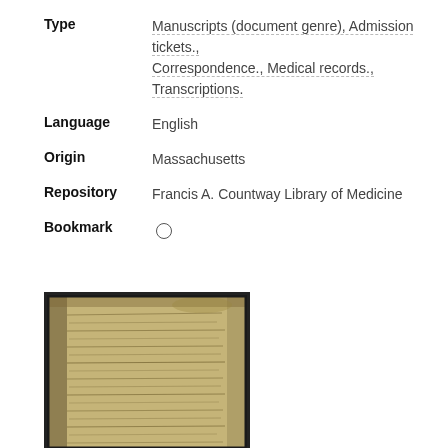Type   Manuscripts (document genre), Admission tickets., Correspondence., Medical records., Transcriptions.
Language   English
Origin   Massachusetts
Repository   Francis A. Countway Library of Medicine
Bookmark   ○
[Figure (photo): A scanned photograph of an old handwritten manuscript page with cursive text, yellowed/brown aged paper, framed in a dark border.]